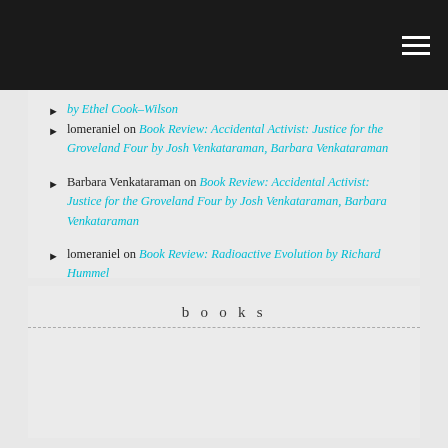by Ethel Cook-Wilson
lomeraniel on Book Review: Accidental Activist: Justice for the Groveland Four by Josh Venkataraman, Barbara Venkataraman
Barbara Venkataraman on Book Review: Accidental Activist: Justice for the Groveland Four by Josh Venkataraman, Barbara Venkataraman
lomeraniel on Book Review: Radioactive Evolution by Richard Hummel
books